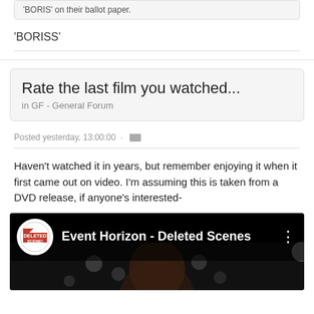'BORIS' on their ballot paper.
'BORISS'
Rate the last film you watched...
in GF - General Forum
Posted yesterday, 13:00:00 ·
Haven't watched it in years, but remember enjoying it when it first came out on video. I'm assuming this is taken from a DVD release, if anyone's interested-
[Figure (screenshot): YouTube video thumbnail for 'Event Horizon - Deleted Scenes' with a 'Deleted Scene!' badge logo and three-dot menu icon, showing a dark preview image of a person's face.]